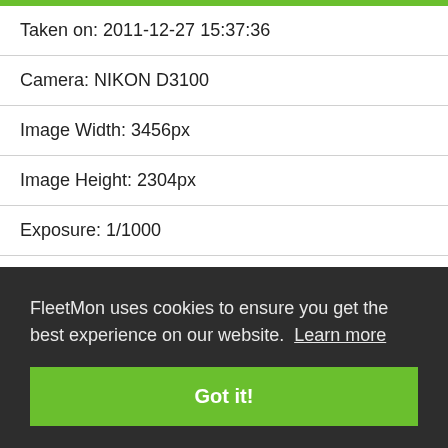Taken on: 2011-12-27 15:37:36
Camera: NIKON D3100
Image Width: 3456px
Image Height: 2304px
Exposure: 1/1000
Aperture: 5.6
FleetMon uses cookies to ensure you get the best experience on our website. Learn more
Got it!